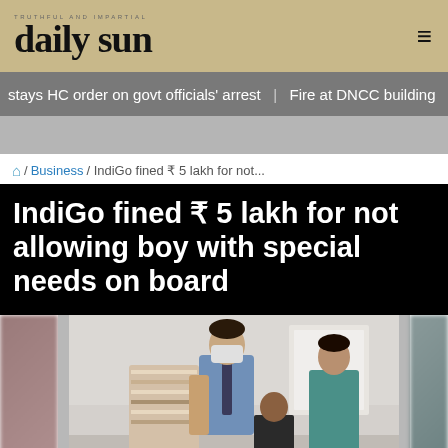daily sun
stays HC order on govt officials' arrest   Fire at DNCC building   Ba
🏠 / Business / IndiGo fined ₹ 5 lakh for not...
IndiGo fined ₹ 5 lakh for not allowing boy with special needs on board
[Figure (photo): Photo showing people standing inside what appears to be an airport or airline setting; a man in a blue shirt wearing a mask is visible along with a woman in a teal/green outfit in the background.]